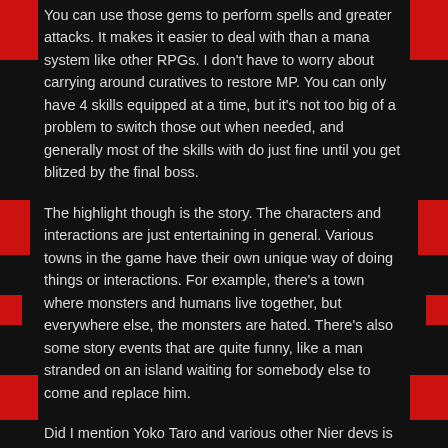You can use those gems to perform spells and greater attacks. It makes it easier to deal with than a mana system like other RPGs. I don't have to worry about carrying around curatives to restore MP. You can only have 4 skills equipped at a time, but it's not too big of a problem to switch those out when needed, and generally most of the skills with do just fine until you get blitzed by the final boss.
The highlight though is the story. The characters and interactions are just entertaining in general. Various towns in the game have their own unique way of doing things or interactions. For example, there's a town where monsters and humans live together, but everywhere else, the monsters are hated. There's also some story events that are quite funny, like a man stranded on an island waiting for somebody else to come and replace him.
Did I mention Yoko Taro and various other Nier devs is involved with this game? Well now you know. Do check it out, I really had fun with it.